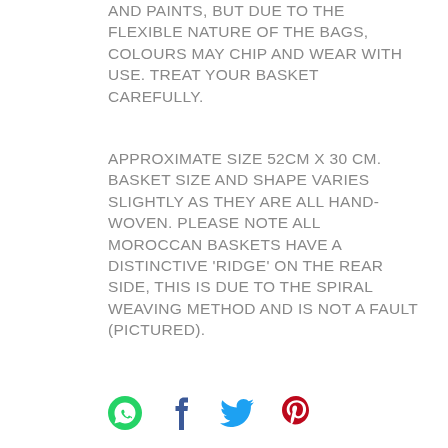AND PAINTS, BUT DUE TO THE FLEXIBLE NATURE OF THE BAGS, COLOURS MAY CHIP AND WEAR WITH USE. TREAT YOUR BASKET CAREFULLY.
APPROXIMATE SIZE 52CM X 30 CM. BASKET SIZE AND SHAPE VARIES SLIGHTLY AS THEY ARE ALL HAND-WOVEN. PLEASE NOTE ALL MOROCCAN BASKETS HAVE A DISTINCTIVE 'RIDGE' ON THE REAR SIDE, THIS IS DUE TO THE SPIRAL WEAVING METHOD AND IS NOT A FAULT (PICTURED).
[Figure (other): Social media share icons: WhatsApp (green circle with phone), Facebook (f), Twitter (bird), Pinterest (P)]